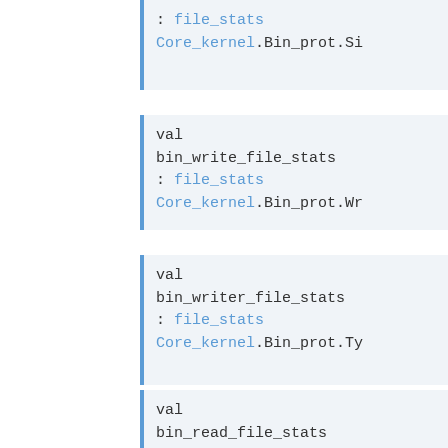: file_stats Core_kernel.Bin_prot.Si
val bin_write_file_stats : file_stats Core_kernel.Bin_prot.Wr
val bin_writer_file_stats : file_stats Core_kernel.Bin_prot.Ty
val bin_read_file_stats : file_stats Core_kernel.Bin_prot.Re